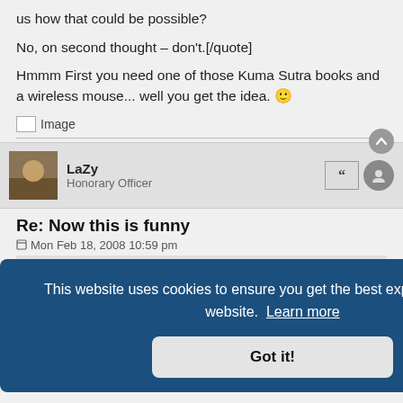us how that could be possible?
No, on second thought - don't.[/quote]
Hmmm First you need one of those Kuma Sutra books and a wireless mouse... well you get the idea. 🙂
[Figure (other): Broken image placeholder labeled 'Image']
LaZy
Honorary Officer
Re: Now this is funny
Mon Feb 18, 2008 10:59 pm
so is
Out
This website uses cookies to ensure you get the best experience on our website. Learn more
Got it!